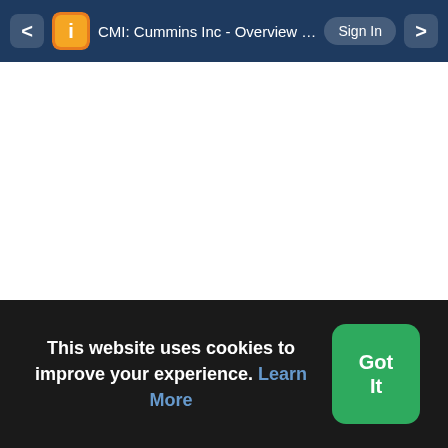CMI: Cummins Inc - Overview | I3investors  Sign In
This website uses cookies to improve your experience. Learn More
Got It